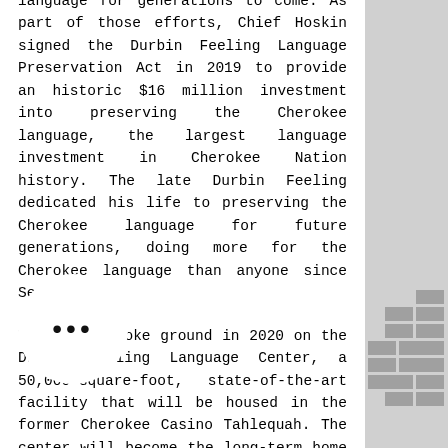language for generations to come. As part of those efforts, Chief Hoskin signed the Durbin Feeling Language Preservation Act in 2019 to provide an historic $16 million investment into preserving the Cherokee language, the largest language investment in Cherokee Nation history. The late Durbin Feeling dedicated his life to preserving the Cherokee language for future generations, doing more for the Cherokee language than anyone since Sequoyah.

The tribe broke ground in 2020 on the Durbin Feeling Language Center, a 50,000-square-foot, state-of-the-art facility that will be housed in the former Cherokee Casino Tahlequah. The center will become the long-term home of the Cherokee Language Department, which is comprised of more than a dozen unique programs for Cherokee language perpetuation. For the first time in history, all of the tribe's language programs will be under one roof when construction is complete. The campus will also